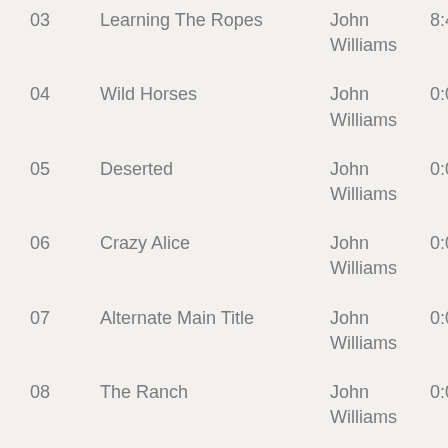03  Learning The Ropes  John Williams  8:44
04  Wild Horses  John Williams  0:00
05  Deserted  John Williams  0:00
06  Crazy Alice  John Williams  0:00
07  Alternate Main Title  John Williams  0:00
08  The Ranch  John Williams  0:00
09  Overture  John Williams  3:53